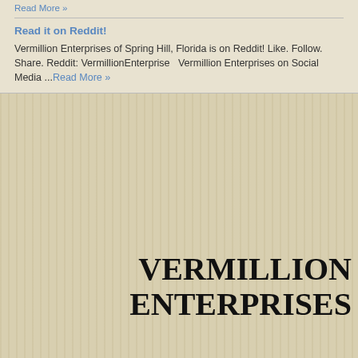Read More »
Read it on Reddit!
Vermillion Enterprises of Spring Hill, Florida is on Reddit! Like. Follow. Share. Reddit: VermillionEnterprise   Vermillion Enterprises on Social Media ...Read More »
VERMILLION ENTERPRISES
5324 Spring Hill Drive
Spring Hill, Florida 34606
Phone: (3__-___-_772
Monday – Friday: __:__ – __pm
Saturday: __:__ – 2pm
Sunday: Closed